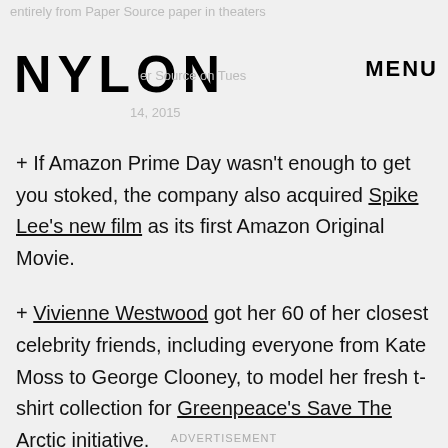NYLON   MENU
+ If Amazon Prime Day wasn't enough to get you stoked, the company also acquired Spike Lee's new film as its first Amazon Original Movie.
+ Vivienne Westwood got her 60 of her closest celebrity friends, including everyone from Kate Moss to George Clooney, to model her fresh t-shirt collection for Greenpeace's Save The Arctic initiative.
ADVERTISEMENT